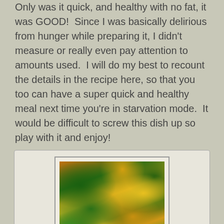Only was it quick, and healthy with no fat, it was GOOD!  Since I was basically delirious from hunger while preparing it, I didn't measure or really even pay attention to amounts used.  I will do my best to recount the details in the recipe here, so that you too can have a super quick and healthy meal next time you're in starvation mode.  It would be difficult to screw this dish up so play with it and enjoy!
[Figure (photo): Close-up photo of a colorful stir-fry dish with green vegetables (kale/spinach) and yellow/orange ingredients, displayed in a white frame with 'Rate this recipe!' callout box]
5-Minute Meal for One